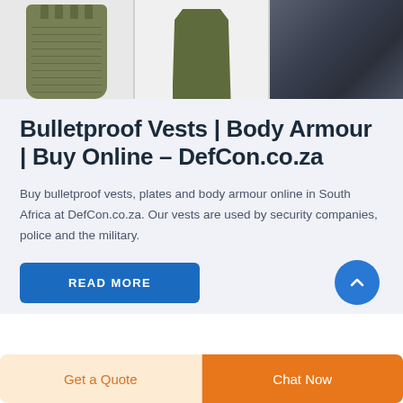[Figure (photo): Three product images in a horizontal strip showing a molle tactical vest (olive green), a simple body armour vest (olive green), and fabric/clothing material (dark blue-grey).]
Bulletproof Vests | Body Armour | Buy Online - DefCon.co.za
Buy bulletproof vests, plates and body armour online in South Africa at DefCon.co.za. Our vests are used by security companies, police and the military.
READ MORE
Get a Quote
Chat Now